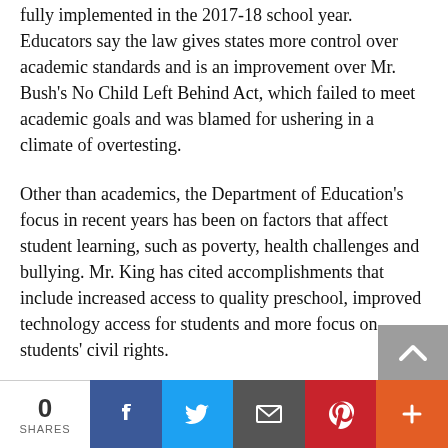fully implemented in the 2017-18 school year. Educators say the law gives states more control over academic standards and is an improvement over Mr. Bush's No Child Left Behind Act, which failed to meet academic goals and was blamed for ushering in a climate of overtesting.
Other than academics, the Department of Education's focus in recent years has been on factors that affect student learning, such as poverty, health challenges and bullying. Mr. King has cited accomplishments that include increased access to quality preschool, improved technology access for students and more focus on students' civil rights.
It isn't clear what will happen to initiatives from previous administrations, but Ms. DeVos has sig